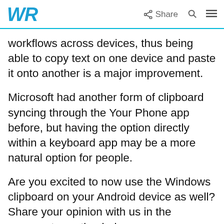WR  Share
workflows across devices, thus being able to copy text on one device and paste it onto another is a major improvement.
Microsoft had another form of clipboard syncing through the Your Phone app before, but having the option directly within a keyboard app may be a more natural option for people.
Are you excited to now use the Windows clipboard on your Android device as well? Share your opinion with us in the comments section below.
Was this page helpful?